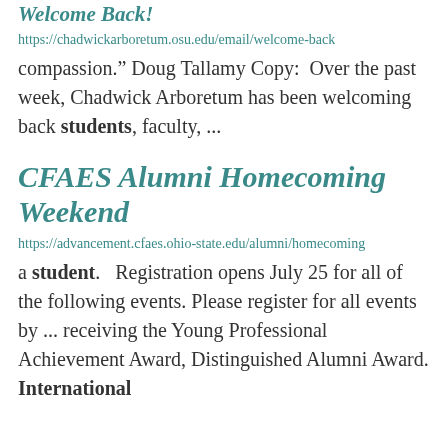Welcome Back!
https://chadwickarboretum.osu.edu/email/welcome-back
compassion." Doug Tallamy Copy:  Over the past week, Chadwick Arboretum has been welcoming back students, faculty, ...
CFAES Alumni Homecoming Weekend
https://advancement.cfaes.ohio-state.edu/alumni/homecoming
a student.   Registration opens July 25 for all of the following events. Please register for all events by ... receiving the Young Professional Achievement Award, Distinguished Alumni Award, International